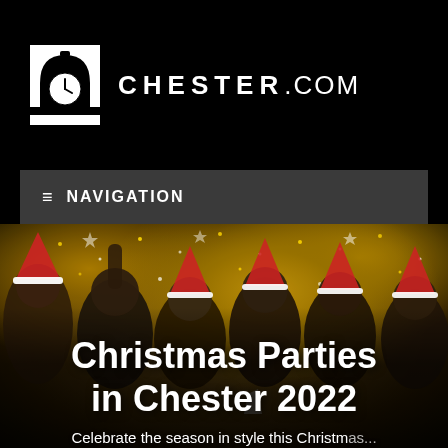CHESTER.COM
≡  NAVIGATION
[Figure (photo): Group of six young people wearing Santa hats celebrating at a Christmas party, laughing and raising fists, with gold glitter bokeh curtain background]
Christmas Parties in Chester 2022
Celebrate the season in style this Christmas...